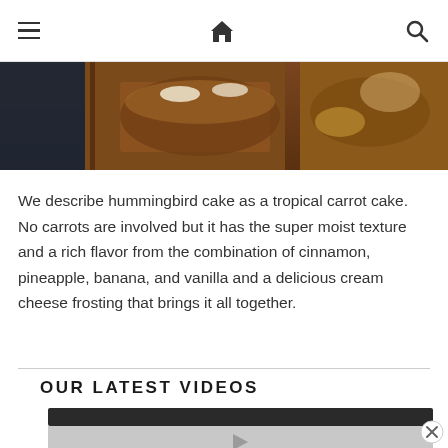≡  🏠  🔍
[Figure (photo): Close-up photo of hummingbird cake on a wooden board, showing caramel-brown cake with frosting and toppings]
We describe hummingbird cake as a tropical carrot cake. No carrots are involved but it has the super moist texture and a rich flavor from the combination of cinnamon, pineapple, banana, and vanilla and a delicious cream cheese frosting that brings it all together.
OUR LATEST VIDEOS
[Figure (screenshot): Video thumbnail with dark header bar and light gray content area showing a play button icon]